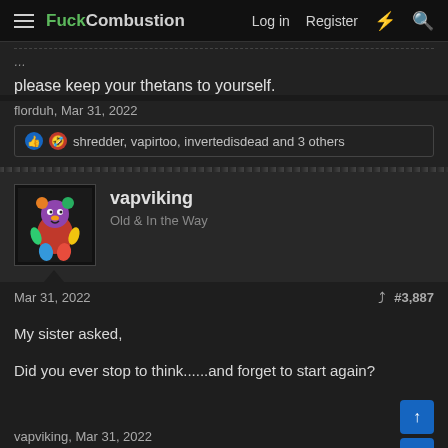FuckCombustion — Log in  Register
please keep your thetans to yourself.
florduh, Mar 31, 2022
shredder, vapirtoo, invertedisdead and 3 others
vapviking
Old & In the Way
Mar 31, 2022   #3,887
My sister asked,

Did you ever stop to think......and forget to start again?
vapviking, Mar 31, 2022
torkwench13, invertedisdead, Planck and 6 others